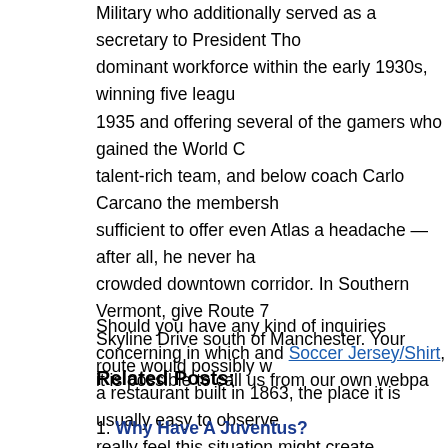Military who additionally served as a secretary to President Tho dominant workforce within the early 1930s, winning five leagu 1935 and offering several of the gamers who gained the World C talent-rich team, and below coach Carlo Carcano the membersh sufficient to offer even Atlas a headache — after all, he never ha crowded downtown corridor. In Southern Vermont, give Route 7 Skyline Drive south of Manchester. Your route would possibly w a restaurant built in 1863, the place it is usually easy to observe really feel this situation might create unbalance within the squa has been on the ball and found a technique to compose harmony coordinate a dynamic construction. Bayern in the ultimate, and call.
Should you have any kind of inquiries concerning in which and Soccer Jersey/Shirt, it is possible to call us from our own webpa
Related Posts:
1. Why Have A Juventus?